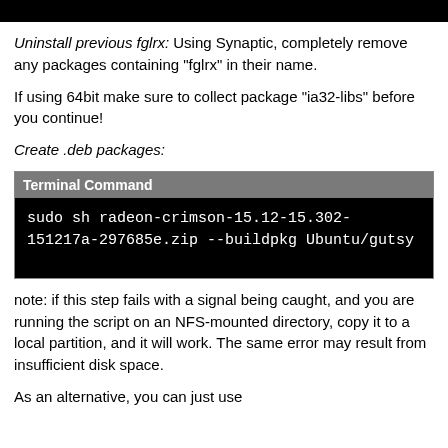Uninstall previous fglrx: Using Synaptic, completely remove any packages containing "fglrx" in their name.
If using 64bit make sure to collect package "ia32-libs" before you continue!
Create .deb packages:
| Terminal Command |
| --- |
| sudo sh radeon-crimson-15.12-15.302-151217a-297685e.zip --buildpkg Ubuntu/gutsy |
note: if this step fails with a signal being caught, and you are running the script on an NFS-mounted directory, copy it to a local partition, and it will work. The same error may result from insufficient disk space.
As an alternative, you can just use